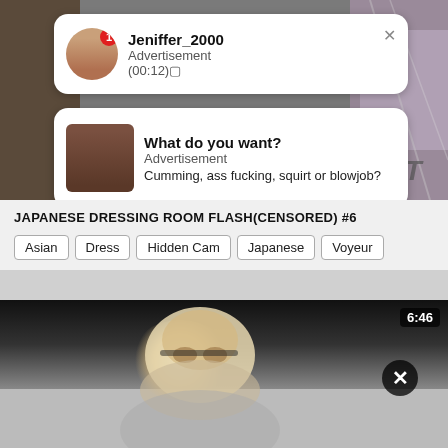[Figure (screenshot): Top background area showing a room/bed scene, partially visible behind notification cards]
Jeniffer_2000
Advertisement
(00:12)🔲
What do you want?
Advertisement
Cumming, ass fucking, squirt or blowjob?
JAPANESE DRESSING ROOM FLASH(CENSORED) #6
Asian
Dress
Hidden Cam
Japanese
Voyeur
[Figure (screenshot): Video player showing dark scene with blurred face, duration badge 6:46, close button]